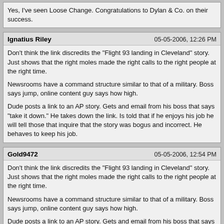Yes, I've seen Loose Change. Congratulations to Dylan & Co. on their success.
Ignatius Riley	05-05-2006, 12:26 PM
Don't think the link discredits the "Flight 93 landing in Cleveland" story. Just shows that the right moles made the right calls to the right people at the right time.

Newsrooms have a command structure similar to that of a military. Boss says jump, online content guy says how high.

Dude posts a link to an AP story. Gets and email from his boss that says "take it down." He takes down the link. Is told that if he enjoys his job he will tell those that inquire that the story was bogus and incorrect. He behaves to keep his job.
Gold9472	05-05-2006, 12:54 PM
Don't think the link discredits the "Flight 93 landing in Cleveland" story. Just shows that the right moles made the right calls to the right people at the right time.

Newsrooms have a command structure similar to that of a military. Boss says jump, online content guy says how high.

Dude posts a link to an AP story. Gets and email from his boss that says "take it down." He takes down the link. Is told that if he enjoys his job he will tell those that inquire that the story was bogus and incorrect. He behaves to keep his job.

Now you're getting into Occam's Razor. If they did divert a plane to Cleveland, what did they do with the people? Murder them in cold blood, and throw their bodies in incinerators? I doubt it. It would have been a lot easier for them to somehow use the actual planes.